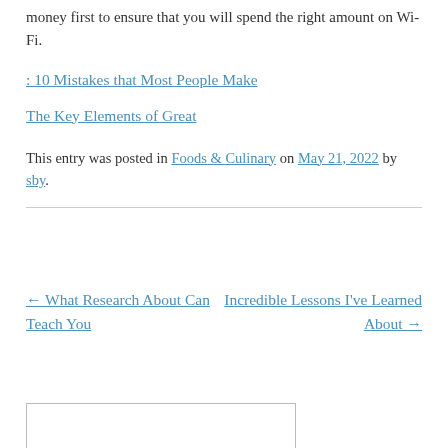money first to ensure that you will spend the right amount on Wi-Fi.
: 10 Mistakes that Most People Make
The Key Elements of Great
This entry was posted in Foods & Culinary on May 21, 2022 by sby.
← What Research About Can Teach You
Incredible Lessons I've Learned About →
[Figure (other): Empty search input box]